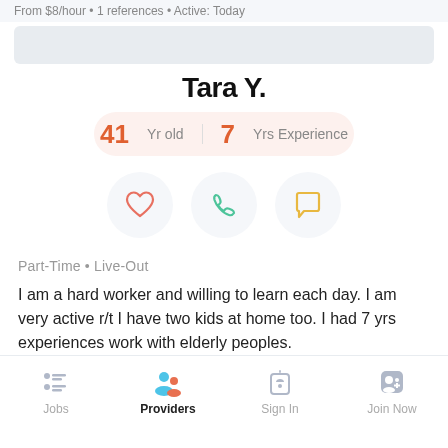From $8/hour • 1 references • Active: Today
Tara Y.
41 Yr old   7 Yrs Experience
[Figure (infographic): Three icon buttons: heart (favorite), phone (call), speech bubble (message)]
Part-Time • Live-Out
I am a hard worker and willing to learn each day. I am very active r/t I have two kids at home too. I had 7 yrs experiences work with elderly peoples.
Jobs   Providers   Sign In   Join Now